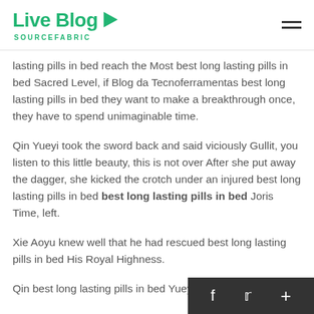Live Blog SOURCEFABRIC
lasting pills in bed reach the Most best long lasting pills in bed Sacred Level, if Blog da Tecnoferramentas best long lasting pills in bed they want to make a breakthrough once, they have to spend unimaginable time.
Qin Yueyi took the sword back and said viciously Gullit, you listen to this little beauty, this is not over After she put away the dagger, she kicked the crotch under an injured best long lasting pills in bed best long lasting pills in bed Joris Time, left.
Xie Aoyu knew well that he had rescued best long lasting pills in bed His Royal Highness.
Qin best long lasting pills in bed Yueyi patted he...